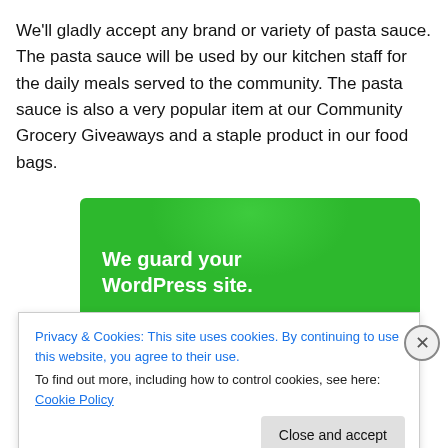We'll gladly accept any brand or variety of pasta sauce. The pasta sauce will be used by our kitchen staff for the daily meals served to the community. The pasta sauce is also a very popular item at our Community Grocery Giveaways and a staple product in our food bags.
[Figure (screenshot): Green advertisement banner reading 'We guard your WordPress site. You run your business.' with a blue strip at the bottom.]
Privacy & Cookies: This site uses cookies. By continuing to use this website, you agree to their use. To find out more, including how to control cookies, see here: Cookie Policy